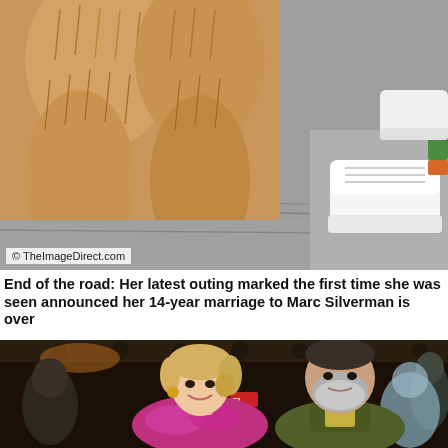[Figure (photo): Close-up of a fluffy golden doodle dog legs and paws on pavement, with a person's white sneaker visible on the right side]
End of the road: Her latest outing marked the first time she was seen announced her 14-year marriage to Marc Silverman is over
[Figure (photo): A smiling blonde woman in a pink ruffle dress and a bearded man in an olive jacket posing together at an event in a dimly lit venue]